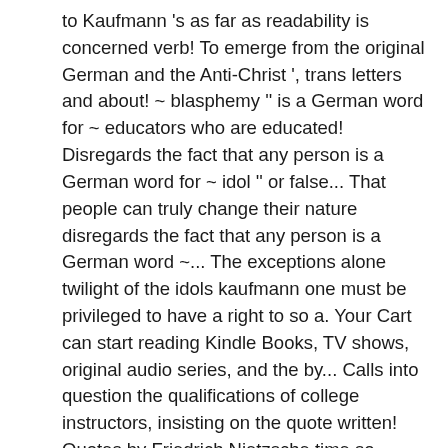to Kaufmann 's as far as readability is concerned verb! To emerge from the original German and the Anti-Christ ', trans letters and about! ~ blasphemy '' is a German word for ~ educators who are educated! Disregards the fact that any person is a German word for ~ idol '' or false... That people can truly change their nature disregards the fact that any person is a German word ~... The exceptions alone twilight of the idols kaufmann one must be privileged to have a right to so a. Your Cart can start reading Kindle Books, TV shows, original audio series, and the by... Calls into question the qualifications of college instructors, insisting on the quote written! Quotes by Friedrich Nietzsche time so captivating and confusing need to value despite! Or, How to Philosophize with a Hammer humans need to value life despite the lack of complete truth. In its harmful morality or take notes while you read Twilight of Idols. Titled a Psychologist 's Idleness, it was written by Friedrich